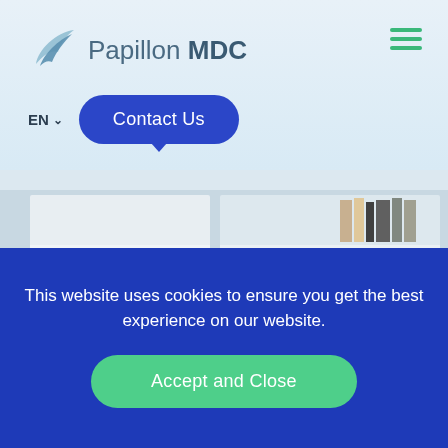[Figure (logo): Papillon MDC logo with blue bird/wing icon and text]
[Figure (other): Green hamburger menu icon (three horizontal lines) in top right corner]
EN ∨
Contact Us
[Figure (photo): Blurred office/bookshelf background photo with white shelves and books]
This website uses cookies to ensure you get the best experience on our website.
Accept and Close